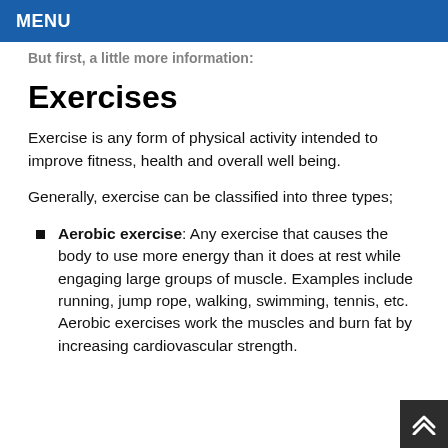MENU
But first, a little more information:
Exercises
Exercise is any form of physical activity intended to improve fitness, health and overall well being.
Generally, exercise can be classified into three types;
Aerobic exercise: Any exercise that causes the body to use more energy than it does at rest while engaging large groups of muscle. Examples include running, jump rope, walking, swimming, tennis, etc. Aerobic exercises work the muscles and burn fat by increasing cardiovascular strength.